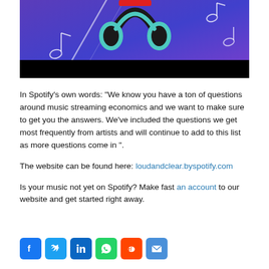[Figure (photo): Headphones on a purple/blue neon background with music notes, with a black bar at the bottom of the image]
In Spotify's own words: “We know you have a ton of questions around music streaming economics and we want to make sure to get you the answers. We’ve included the questions we get most frequently from artists and will continue to add to this list as more questions come in ”.
The website can be found here: loudandclear.byspotify.com
Is your music not yet on Spotify? Make fast an account to our website and get started right away.
[Figure (infographic): Social sharing icons: Facebook, Twitter, LinkedIn, WhatsApp, Reddit, Email]